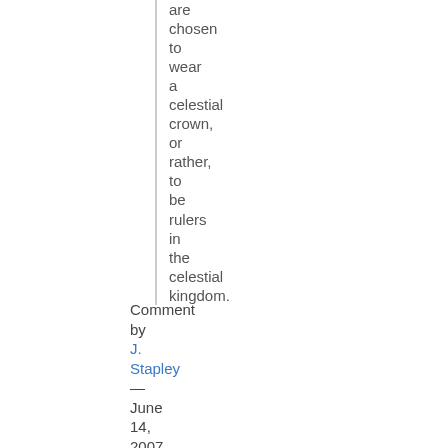are chosen to wear a celestial crown, or rather, to be rulers in the celestial kingdom.
Comment by J. Stapley — June 14, 2007 @ 9:06